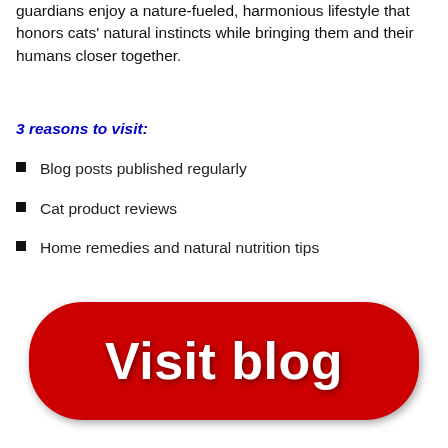guardians enjoy a nature-fueled, harmonious lifestyle that honors cats' natural instincts while bringing them and their humans closer together.
3 reasons to visit:
Blog posts published regularly
Cat product reviews
Home remedies and natural nutrition tips
[Figure (other): Red rounded rectangular button with white bold text reading 'Visit blog']